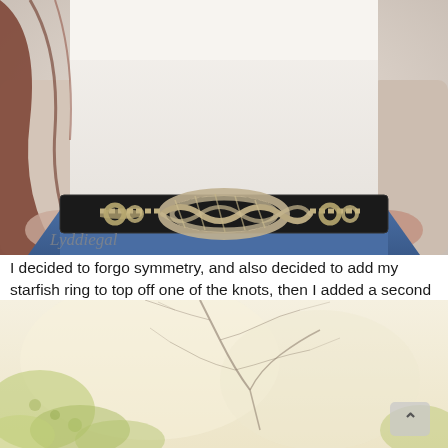[Figure (photo): Close-up photo of a woman wearing a white turtleneck top and blue skirt, with a black belt featuring a large decorative silver chain-link knot buckle. A watermark reads 'Lyddiegal' in the lower left.]
I decided to forgo symmetry, and also decided to add my starfish ring to top off one of the knots, then I added a second necklace for more polish.
[Figure (photo): Partial photo showing a light beige/cream background with bare tree branches and some yellow-green foliage in the lower portion. A small upward arrow button is visible in the bottom right.]